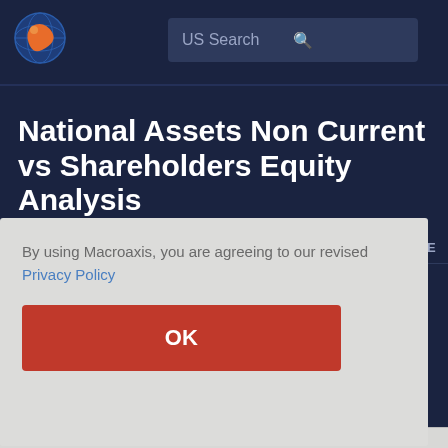[Figure (logo): Macroaxis globe logo — orange and blue circular icon]
US Search
National Assets Non Current vs Shareholders Equity Analysis
Stocks . USA . Stock . National Vision Holdings
By using Macroaxis, you are agreeing to our revised Privacy Policy
OK
ADVICE
ums